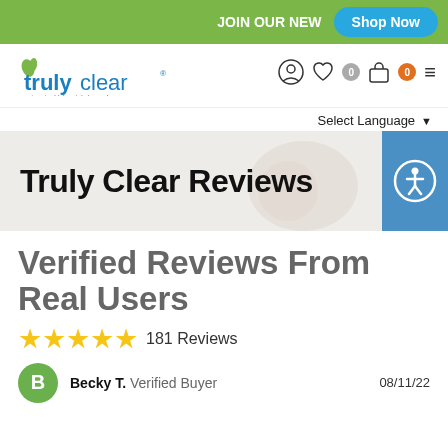JOIN OUR NE\u2026  Shop Now
[Figure (logo): Truly Clear logo - blue text with leaf, tagline 'a trusted blemish brand']
Select Language ▾
[Figure (photo): Hero banner with 'Truly Clear Reviews' heading on light beige background with decorative circles]
Truly Clear Reviews
Verified Reviews From Real Users
★★★★★ 181 Reviews
Becky T.  Verified Buyer  08/11/22